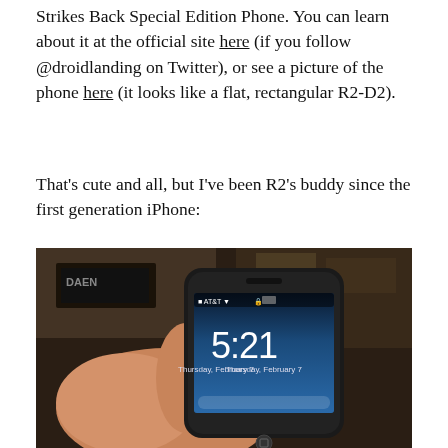Strikes Back Special Edition Phone. You can learn about it at the official site here (if you follow @droidlanding on Twitter), or see a picture of the phone here (it looks like a flat, rectangular R2-D2).
That's cute and all, but I've been R2's buddy since the first generation iPhone:
[Figure (photo): A hand holding a first generation iPhone showing lock screen with time 5:21 and date Thursday, February 7. The phone shows AT&T carrier and wifi signal. Background is a dimly lit room.]